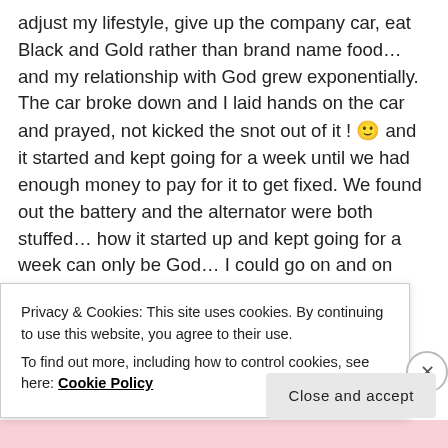adjust my lifestyle, give up the company car, eat Black and Gold rather than brand name food… and my relationship with God grew exponentially. The car broke down and I laid hands on the car and prayed, not kicked the snot out of it ! 🙂 and it started and kept going for a week until we had enough money to pay for it to get fixed. We found out the battery and the alternator were both stuffed… how it started up and kept going for a week can only be God… I could go on and on with many more stories… Anyway, I wasn't at the conference, I was in
Privacy & Cookies: This site uses cookies. By continuing to use this website, you agree to their use.
To find out more, including how to control cookies, see here: Cookie Policy